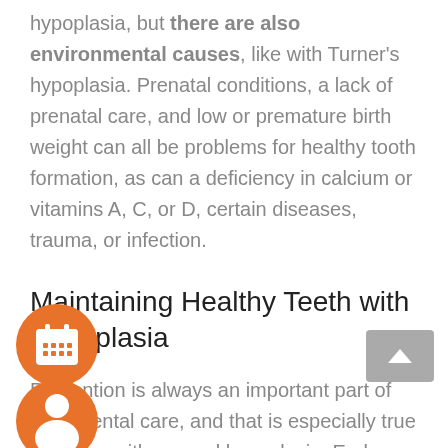hypoplasia, but there are also environmental causes, like with Turner's hypoplasia. Prenatal conditions, a lack of prenatal care, and low or premature birth weight can all be problems for healthy tooth formation, as can a deficiency in calcium or vitamins A, C, or D, certain diseases, trauma, or infection.
Maintaining Healthy Teeth with Hypoplasia
Prevention is always an important part of good dental care, and that is especially true for those with enamel hypoplasia. Early diagnosis and treatment of the condition are essential for keeping teeth with malformed enamel healthy.